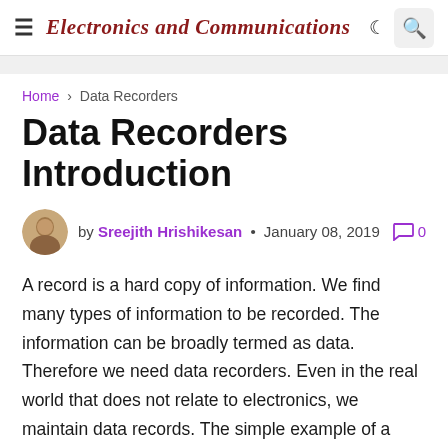Electronics and Communications
Home › Data Recorders
Data Recorders Introduction
by Sreejith Hrishikesan • January 08, 2019  0
A record is a hard copy of information. We find many types of information to be recorded. The information can be broadly termed as data. Therefore we need data recorders. Even in the real world that does not relate to electronics, we maintain data records. The simple example of a data recorder is the attendance register of students in a class. The subject teacher records the attendance of the students for every period. Thus over months and finally over the end of the academic year this